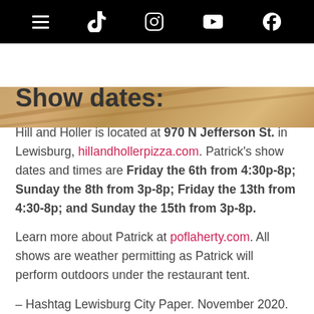Navigation bar with hamburger menu, TikTok, Instagram, YouTube, and Facebook icons
[Figure (photo): Wooden table surface / wood grain background strip]
Show dates:
Hill and Holler is located at 970 N Jefferson St. in Lewisburg, hillandhollerpizza.com. Patrick's show dates and times are Friday the 6th from 4:30p-8p; Sunday the 8th from 3p-8p; Friday the 13th from 4:30-8p; and Sunday the 15th from 3p-8p.
Learn more about Patrick at poflaherty.com. All shows are weather permitting as Patrick will perform outdoors under the restaurant tent.
– Hashtag Lewisburg City Paper. November 2020.